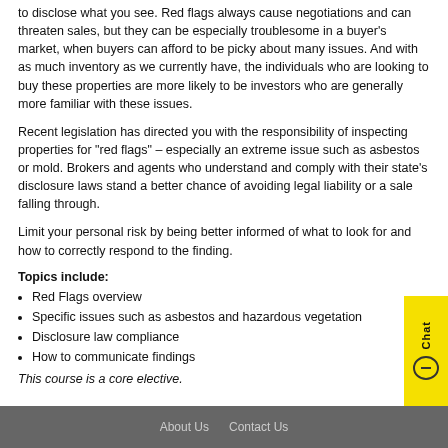to disclose what you see. Red flags always cause negotiations and can threaten sales, but they can be especially troublesome in a buyer's market, when buyers can afford to be picky about many issues. And with as much inventory as we currently have, the individuals who are looking to buy these properties are more likely to be investors who are generally more familiar with these issues.
Recent legislation has directed you with the responsibility of inspecting properties for "red flags" – especially an extreme issue such as asbestos or mold. Brokers and agents who understand and comply with their state's disclosure laws stand a better chance of avoiding legal liability or a sale falling through.
Limit your personal risk by being better informed of what to look for and how to correctly respond to the finding.
Topics include:
Red Flags overview
Specific issues such as asbestos and hazardous vegetation
Disclosure law compliance
How to communicate findings
This course is a core elective.
About Us   Contact Us